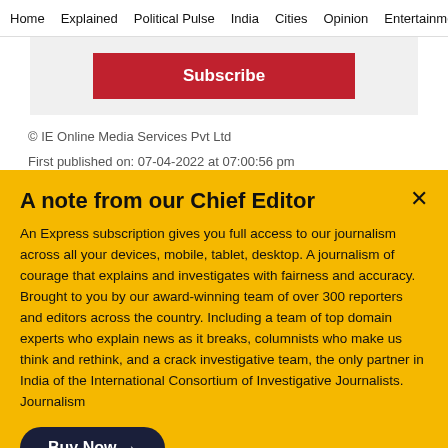Home   Explained   Political Pulse   India   Cities   Opinion   Entertainmer
[Figure (screenshot): Red Subscribe button on light gray background]
© IE Online Media Services Pvt Ltd
First published on: 07-04-2022 at 07:00:56 pm
[Figure (other): Social media share icons (partial) - dark circle icons]
A note from our Chief Editor
An Express subscription gives you full access to our journalism across all your devices, mobile, tablet, desktop. A journalism of courage that explains and investigates with fairness and accuracy. Brought to you by our award-winning team of over 300 reporters and editors across the country. Including a team of top domain experts who explain news as it breaks, columnists who make us think and rethink, and a crack investigative team, the only partner in India of the International Consortium of Investigative Journalists. Journalism
Buy Now →